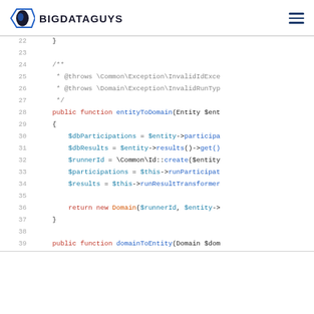BIGDATAGUYS
[Figure (screenshot): PHP code snippet showing lines 22-39 of a class file with entityToDomain and domainToEntity methods. Syntax highlighted with red keywords, blue function names, teal variables, and orange class names.]